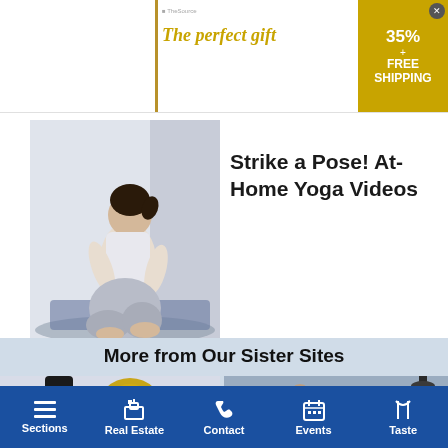[Figure (screenshot): Advertisement banner: 'The perfect gift' in gold italic text with gift/product image, carousel arrows, and a gold badge showing '35% + FREE SHIPPING']
[Figure (photo): Woman in white yoga outfit sitting in a yoga pose on a mat indoors]
Strike a Pose! At-Home Yoga Videos
More from Our Sister Sites
[Figure (photo): Left: Wine bottle with red label and New York Wine Classic Gold medal medallion]
[Figure (photo): Right: Two police officers standing near a lamp post on a beach boardwalk]
Sections | Real Estate | Contact | Events | Taste